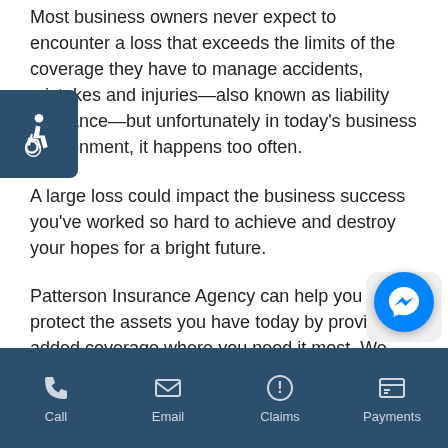Most business owners never expect to encounter a loss that exceeds the limits of the coverage they have to manage accidents, mistakes and injuries—also known as liability insurance—but unfortunately in today's business environment, it happens too often.

A large loss could impact the business success you've worked so hard to achieve and destroy your hopes for a bright future.

Patterson Insurance Agency can help you protect the assets you have today by providing added coverage where you need it most. We can help you build a tailored insurance solution that meets
[Figure (other): Accessibility widget icon (wheelchair symbol) on a dark blue background, positioned at the left edge of the page]
[Figure (other): Facebook Messenger chat button (blue circle with lightning bolt/messenger icon), positioned at bottom right]
Call | Email | Claims | Payments